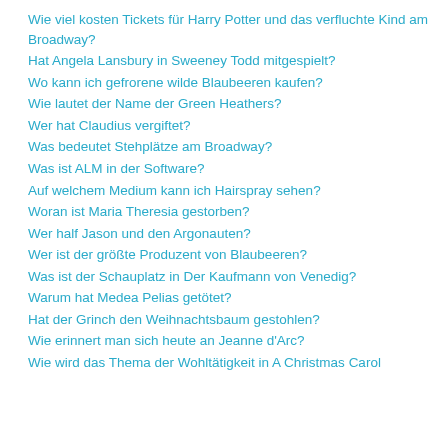Wie viel kosten Tickets für Harry Potter und das verfluchte Kind am Broadway?
Hat Angela Lansbury in Sweeney Todd mitgespielt?
Wo kann ich gefrorene wilde Blaubeeren kaufen?
Wie lautet der Name der Green Heathers?
Wer hat Claudius vergiftet?
Was bedeutet Stehplätze am Broadway?
Was ist ALM in der Software?
Auf welchem Medium kann ich Hairspray sehen?
Woran ist Maria Theresia gestorben?
Wer half Jason und den Argonauten?
Wer ist der größte Produzent von Blaubeeren?
Was ist der Schauplatz in Der Kaufmann von Venedig?
Warum hat Medea Pelias getötet?
Hat der Grinch den Weihnachtsbaum gestohlen?
Wie erinnert man sich heute an Jeanne d'Arc?
Wie wird das Thema der Wohltätigkeit in A Christmas Carol